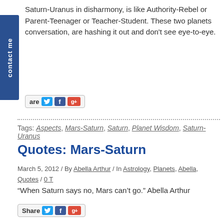Saturn-Uranus in disharmony, is like Authority-Rebel or Parent-Teenager or Teacher-Student. These two planets conversation, are hashing it out and don't see eye-to-eye.
[Figure (other): Share buttons bar with Twitter, Facebook, and Google+ icons]
Tags: Aspects, Mars-Saturn, Saturn, Planet Wisdom, Saturn-Uranus
Quotes: Mars-Saturn
March 5, 2012 / By Abella Arthur / In Astrology, Planets, Abella, Quotes / 0 T
“When Saturn says no, Mars can’t go.” Abella Arthur
[Figure (other): Share buttons bar with Twitter, Facebook, and Google+ icons]